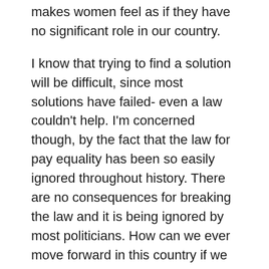makes women feel as if they have no significant role in our country.
I know that trying to find a solution will be difficult, since most solutions have failed- even a law couldn't help. I'm concerned though, by the fact that the law for pay equality has been so easily ignored throughout history. There are no consequences for breaking the law and it is being ignored by most politicians. How can we ever move forward in this country if we don't even have equality for men and women?
It's hard to look around my classes at my male classmates and think about the fact that they will most likely earn more money than I will in the future. Not only does it make me think that...